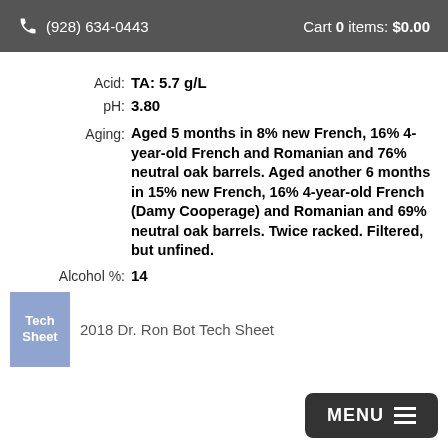(928) 634-0443  Cart 0 items: $0.00
Acid: TA: 5.7 g/L
pH: 3.80
Aging: Aged 5 months in 8% new French, 16% 4-year-old French and Romanian and 76% neutral oak barrels. Aged another 6 months in 15% new French, 16% 4-year-old French (Damy Cooperage) and Romanian and 69% neutral oak barrels. Twice racked. Filtered, but unfined.
Alcohol %: 14
[Figure (other): Thumbnail image of tech sheet document labeled 'Tech Sheet']
2018 Dr. Ron Bot Tech Sheet